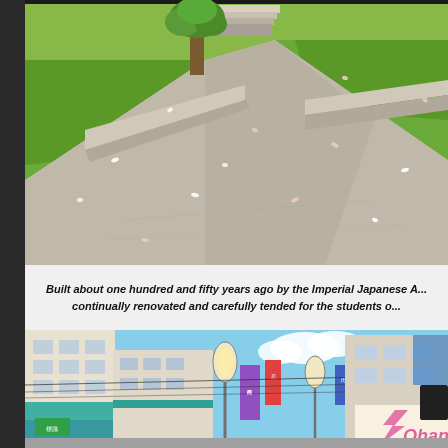[Figure (illustration): Anime-style illustration of a school courtyard/plaza with green lawns, a tree, cherry blossom petals falling, concrete pathways, and steps in the background.]
Built about one hundred and fifty years ago by the Imperial Japanese A... continually renovated and carefully tended for the students o...
[Figure (illustration): Anime-style illustration of a Japanese shopping street with multi-story commercial buildings, colorful signage, street lamps, power lines, blue sky with clouds, and an 'Ohana' sign visible.]